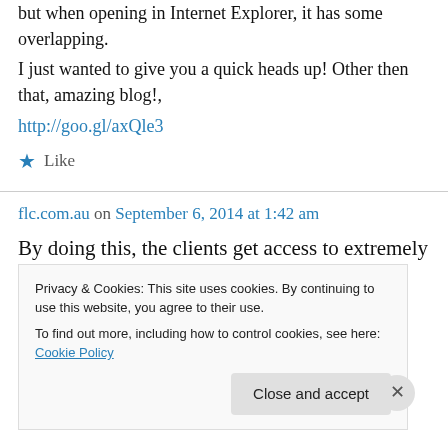but when opening in Internet Explorer, it has some overlapping.
I just wanted to give you a quick heads up! Other then that, amazing blog!,
http://goo.gl/axQle3
★ Like
flc.com.au on September 6, 2014 at 1:42 am
By doing this, the clients get access to extremely utilizable tools.
Privacy & Cookies: This site uses cookies. By continuing to use this website, you agree to their use.
To find out more, including how to control cookies, see here: Cookie Policy
Close and accept